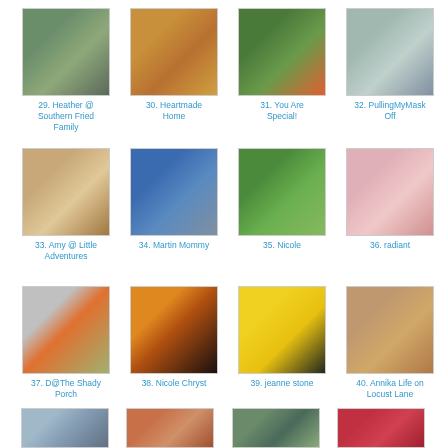[Figure (photo): 29. Heather @ Southern Fried Family - child crouching outdoors]
29. Heather @ Southern Fried Family
[Figure (photo): 30. Heartmade Home - orange/brown texture]
30. Heartmade Home
[Figure (photo): 31. You Are Special! - trees with pumpkins]
31. You Are Special!
[Figure (photo): 32. PullingMyMask Off - purple flower]
32. PullingMyMask Off
[Figure (photo): 33. Amy @ Little Adventures - potatoes on wood]
33. Amy @ Little Adventures
[Figure (photo): 34. Martin Mommy - child in blue shirt]
34. Martin Mommy
[Figure (photo): 35. Nicole - garden bench with flowers]
35. Nicole
[Figure (photo): 36. radiant - pink flower close-up]
36. radiant
[Figure (photo): 37. D@The Shady Porch - pumpkin with white flowers]
37. D@The Shady Porch
[Figure (photo): 38. Nicole Chryst - silhouette family at sunset]
38. Nicole Chryst
[Figure (photo): 39. jeanne stone - yellow daisies]
39. jeanne stone
[Figure (photo): 40. Annika Life on Locust Lane - smiling child]
40. Annika Life on Locust Lane
[Figure (photo): 41. partial thumbnail row 4]
[Figure (photo): 42. partial thumbnail row 4]
[Figure (photo): 43. partial thumbnail row 4]
[Figure (photo): 44. partial thumbnail row 4]